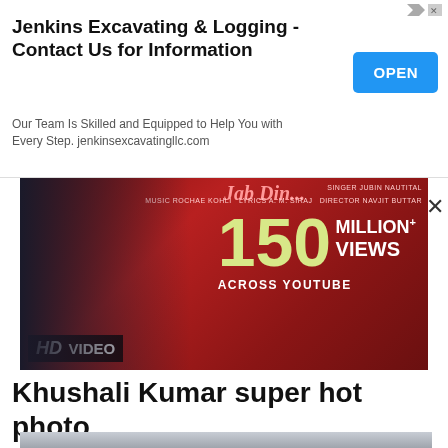[Figure (screenshot): Advertisement banner for Jenkins Excavating & Logging with OPEN button]
Jenkins Excavating & Logging - Contact Us for Information
Our Team Is Skilled and Equipped to Help You with Every Step. jenkinsexcavatingllc.com
[Figure (screenshot): Music video promotional banner showing 150 MILLION+ VIEWS ACROSS YOUTUBE, HD VIDEO label, with Bollywood film credits including JUBIN NAUTICAL, ROCHAE KOHLI, NAVJIT BUTTAR]
Khushali Kumar super hot photo
[Figure (photo): Photo of Khushali Kumar posing indoors]